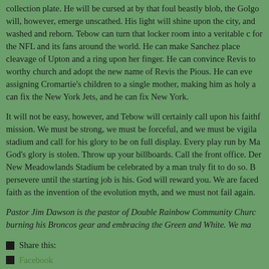collection plate. He will be cursed at by that foul beastly blob, the Golgo will, however, emerge unscathed. His light will shine upon the city, and washed and reborn. Tebow can turn that locker room into a veritable c for the NFL and its fans around the world. He can make Sanchez place cleavage of Upton and a ring upon her finger. He can convince Revis to worthy church and adopt the new name of Revis the Pious. He can eve assigning Cromartie's children to a single mother, making him as holy a can fix the New York Jets, and he can fix New York.
It will not be easy, however, and Tebow will certainly call upon his faith mission. We must be strong, we must be forceful, and we must be vigila stadium and call for his glory to be on full display. Every play run by Ma God's glory is stolen. Throw up your billboards. Call the front office. Der New Meadowlands Stadium be celebrated by a man truly fit to do so. B persevere until the starting job is his. God will reward you. We are faced faith as the invention of the evolution myth, and we must not fail again.
Pastor Jim Dawson is the pastor of Double Rainbow Community Chur burning his Broncos gear and embracing the Green and White. We ma
Share this:
Facebook